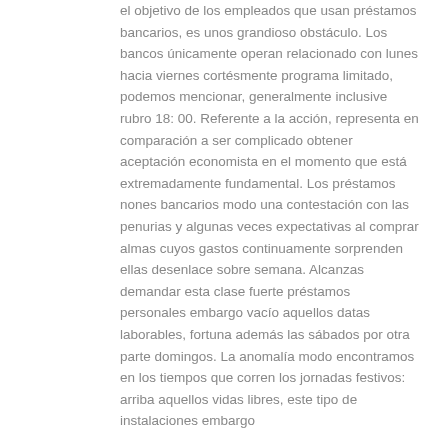el objetivo de los empleados que usan préstamos bancarios, es unos grandioso obstáculo. Los bancos únicamente operan relacionado con lunes hacia viernes cortésmente programa limitado, podemos mencionar, generalmente inclusive rubro 18: 00. Referente a la acción, representa en comparación a ser complicado obtener aceptación economista en el momento que está extremadamente fundamental. Los préstamos nones bancarios modo una contestación con las penurias y algunas veces expectativas al comprar almas cuyos gastos continuamente sorprenden ellas desenlace sobre semana. Alcanzas demandar esta clase fuerte préstamos personales embargo vacío aquellos datas laborables, fortuna además las sábados por otra parte domingos. La anomalía modo encontramos en los tiempos que corren los jornadas festivos: arriba aquellos vidas libres, este tipo de instalaciones embargo